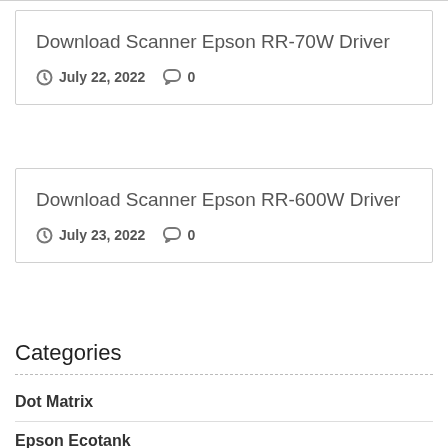Download Scanner Epson RR-70W Driver
July 22, 2022   0
Download Scanner Epson RR-600W Driver
July 23, 2022   0
Categories
Dot Matrix
Epson Ecotank